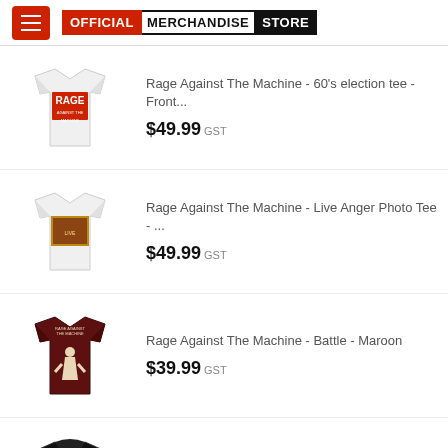OFFICIAL MERCHANDISE STORE
[Figure (photo): White t-shirt with red RAGE Against The Machine print]
Rage Against The Machine - 60's election tee - Front...
$49.99 GST
[Figure (photo): White t-shirt with live photo print on back]
Rage Against The Machine - Live Anger Photo Tee - ...
$49.99 GST
[Figure (photo): Dark maroon/burgundy t-shirt with Battle print]
Rage Against The Machine - Battle - Maroon
$39.99 GST
[Figure (photo): Black pullover hoodie with RATM text on back]
Rage Against The Machine - Battle Star Black Pullov...
$89.99 GST